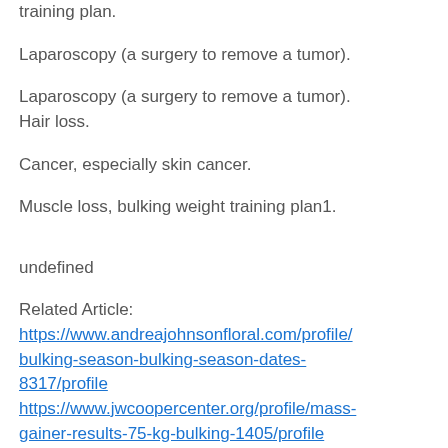training plan.
Laparoscopy (a surgery to remove a tumor).
Laparoscopy (a surgery to remove a tumor).
Hair loss.
Cancer, especially skin cancer.
Muscle loss, bulking weight training plan1.
undefined
Related Article:
https://www.andreajohnsonfloral.com/profile/bulking-season-bulking-season-dates-8317/profile
https://www.jwcoopercenter.org/profile/mass-gainer-results-75-kg-bulking-1405/profile
https://www.eurydicestudios.com/profile/intermittent-fasting-and-bulking-results-